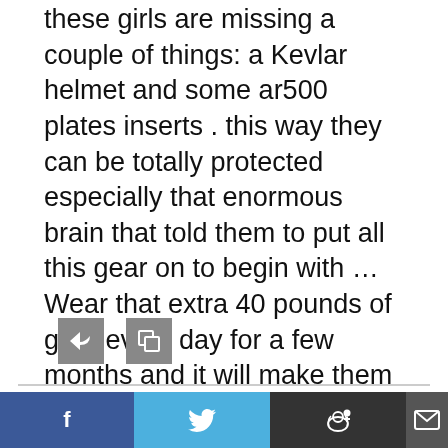these girls are missing a couple of things: a Kevlar helmet and some ar500 plates inserts . this way they can be totally protected especially that enormous brain that told them to put all this gear on to begin with … Wear that extra 40 pounds of gear every day for a few months and it will make them strong! they will still be totally stupid … but strong !
[Figure (other): Two small square icon buttons (reply and quote) in gray]
Rich W.
APRIL 21, 2017, 11:42 AM
[Figure (photo): User avatar thumbnail showing a person shooting a rifle, with text overlay]
"…the group pitches 'Student Body Armor,' which is college apparel lined with ng a unique balance
[Figure (other): Social share bar with Facebook, Twitter, Reddit, and Email buttons]